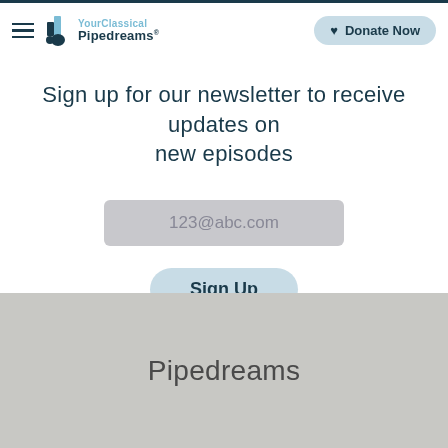YourClassical Pipedreams | Donate Now
Sign up for our newsletter to receive updates on new episodes
123@abc.com
Sign Up
Pipedreams